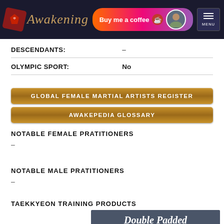Awakening — Buy me a coffee — MENU
| DESCENDANTS: | – |
| OLYMPIC SPORT: | No |
[Figure (other): Button: GLOBAL FEMALE MARTIAL ARTISTS REGISTER]
[Figure (other): Button: AWAKEPEDIA GLOSSARY]
NOTABLE FEMALE PRATITIONERS
–
NOTABLE MALE PRATITIONERS
–
TAEKKYEON TRAINING PRODUCTS
[Figure (other): Product banner showing 'Double Padded' text on dark grey background]